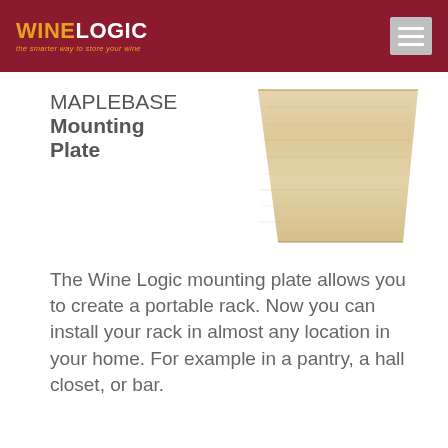WINE LOGIC — the smarter way to store your wine
[Figure (photo): A light maple wood mounting plate, trapezoidal shape, viewed from above on a white background.]
MAPLEBASE Mounting Plate
The Wine Logic mounting plate allows you to create a portable rack. Now you can install your rack in almost any location in your home. For example in a pantry, a hall closet, or bar.